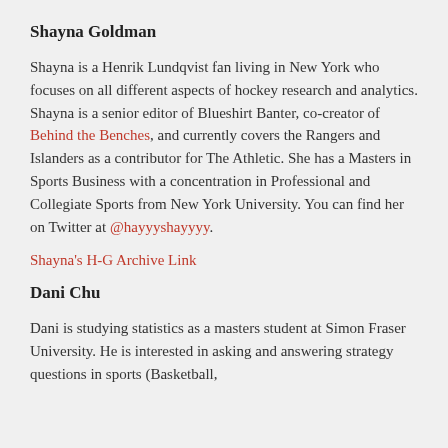Shayna Goldman
Shayna is a Henrik Lundqvist fan living in New York who focuses on all different aspects of hockey research and analytics. Shayna is a senior editor of Blueshirt Banter, co-creator of Behind the Benches, and currently covers the Rangers and Islanders as a contributor for The Athletic. She has a Masters in Sports Business with a concentration in Professional and Collegiate Sports from New York University. You can find her on Twitter at @hayyyshayyyy.
Shayna's H-G Archive Link
Dani Chu
Dani is studying statistics as a masters student at Simon Fraser University. He is interested in asking and answering strategy questions in sports (Basketball,